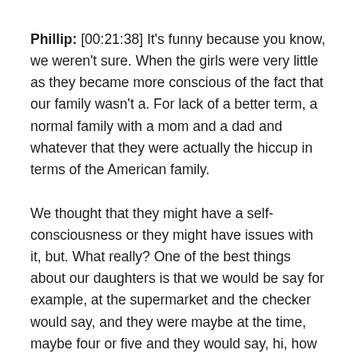Phillip: [00:21:38] It's funny because you know, we weren't sure. When the girls were very little as they became more conscious of the fact that our family wasn't a. For lack of a better term, a normal family with a mom and a dad and whatever that they were actually the hiccup in terms of the American family.
We thought that they might have a self-consciousness or they might have issues with it, but. What really? One of the best things about our daughters is that we would be say for example, at the supermarket and the checker would say, and they were maybe at the time, maybe four or five and they would say, hi, how